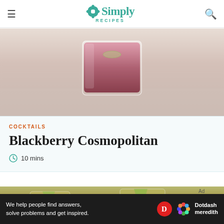Simply Recipes
[Figure (photo): A low glass filled with dark red/crimson cocktail liquid, on a light wooden surface, with soft blurred background]
COCKTAILS
Blackberry Cosmopolitan
10 mins
[Figure (photo): Two cocktail glasses with pale yellow-green drinks garnished with thin apple slices, with grapes and nuts visible on wooden board in background]
We help people find answers, solve problems and get inspired. Dotdash meredith